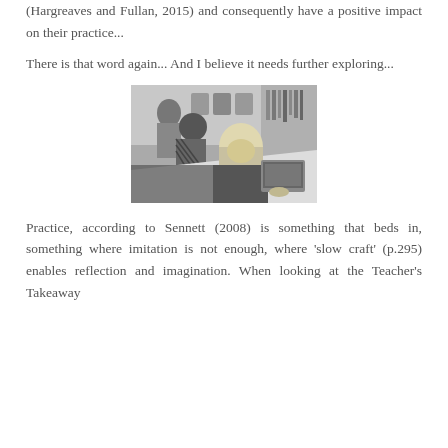(Hargreaves and Fullan, 2015) and consequently have a positive impact on their practice...
There is that word again... And I believe it needs further exploring...
[Figure (photo): Black and white photograph of students studying in a library or classroom setting. A blonde female student is leaning over a desk looking at a laptop screen. Other students are visible in the background.]
Practice, according to Sennett (2008) is something that beds in, something where imitation is not enough, where 'slow craft' (p.295) enables reflection and imagination. When looking at the Teacher's Takeaway